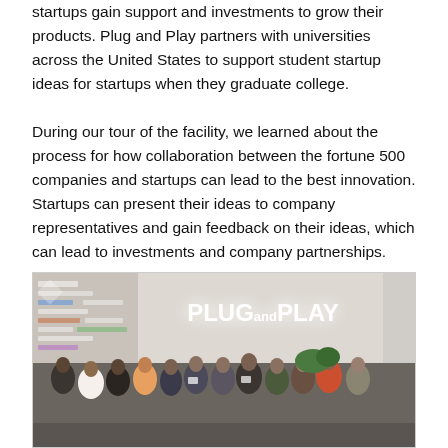startups gain support and investments to grow their products. Plug and Play partners with universities across the United States to support student startup ideas for startups when they graduate college.
During our tour of the facility, we learned about the process for how collaboration between the fortune 500 companies and startups can lead to the best innovation. Startups can present their ideas to company representatives and gain feedback on their ideas, which can lead to investments and company partnerships.
[Figure (photo): Group photo of students and staff standing in front of a Plug and Play branded wall with company logos. The illuminated 'PLUG and PLAY' sign is visible on the wall behind the group.]